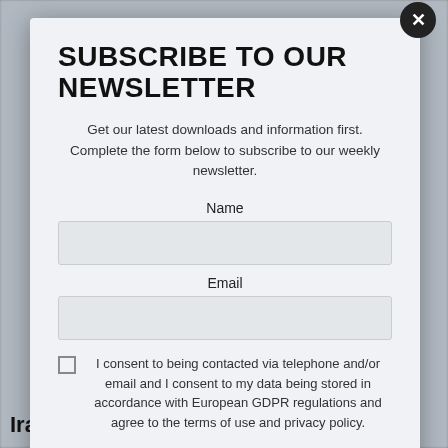SUBSCRIBE TO OUR NEWSLETTER
Get our latest downloads and information first. Complete the form below to subscribe to our weekly newsletter.
Name
Email
I consent to being contacted via telephone and/or email and I consent to my data being stored in accordance with European GDPR regulations and agree to the terms of use and privacy policy.
Submit
Iranian currency rates for July 3